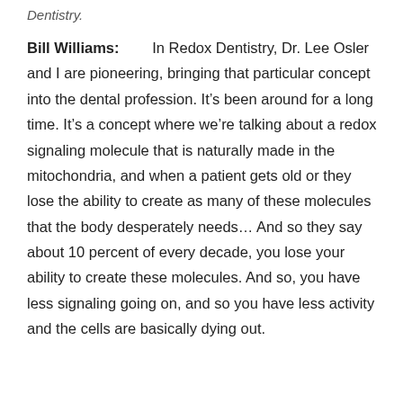Dentistry.
Bill Williams: In Redox Dentistry, Dr. Lee Osler and I are pioneering, bringing that particular concept into the dental profession. It’s been around for a long time. It’s a concept where we’re talking about a redox signaling molecule that is naturally made in the mitochondria, and when a patient gets old or they lose the ability to create as many of these molecules that the body desperately needs… And so they say about 10 percent of every decade, you lose your ability to create these molecules. And so, you have less signaling going on, and so you have less activity and the cells are basically dying out.